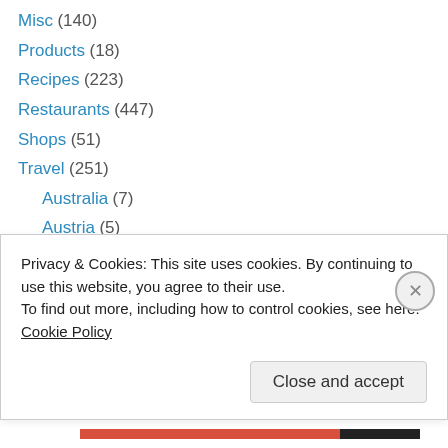Misc (140)
Products (18)
Recipes (223)
Restaurants (447)
Shops (51)
Travel (251)
Australia (7)
Austria (5)
Belgium (4)
Canada (28)
Catalonia (44)
China (18)
Finland (3)
Privacy & Cookies: This site uses cookies. By continuing to use this website, you agree to their use.
To find out more, including how to control cookies, see here: Cookie Policy